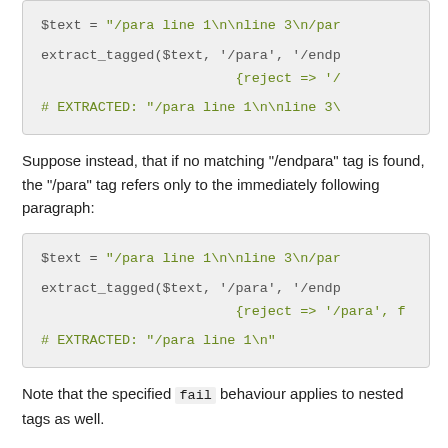[Figure (screenshot): Code block showing: $text = "/para line 1\n\nline 3\n/par... and extract_tagged($text, '/para', '/endp... {reject => '/... # EXTRACTED: "/para line 1\n\nline 3\]
Suppose instead, that if no matching "/endpara" tag is found, the "/para" tag refers only to the immediately following paragraph:
[Figure (screenshot): Code block showing: $text = "/para line 1\n\nline 3\n/par... and extract_tagged($text, '/para', '/endp... {reject => '/para', f... # EXTRACTED: "/para line 1\n"]
Note that the specified fail behaviour applies to nested tags as well.
On success in a list context, an array of 6 elements